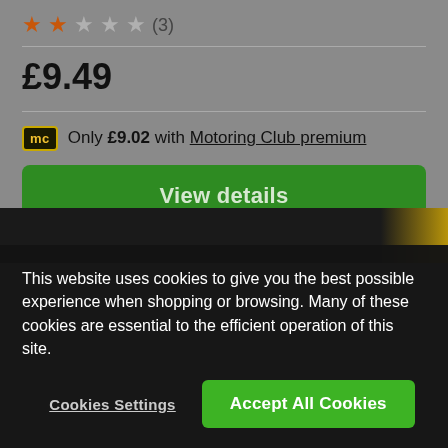★★☆☆☆ (3)
£9.49
Only £9.02 with Motoring Club premium
View details
[Figure (screenshot): Dark product image strip with black background and yellow/gold corner accent]
This website uses cookies to give you the best possible experience when shopping or browsing. Many of these cookies are essential to the efficient operation of this site.
Cookies Settings
Accept All Cookies